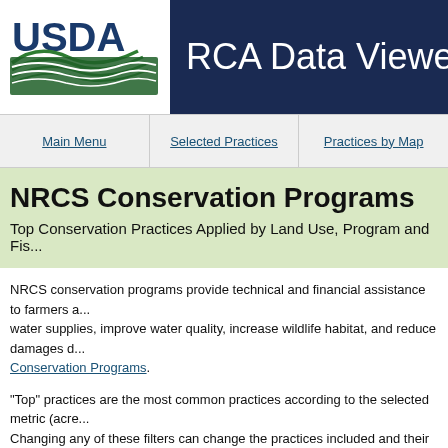[Figure (logo): USDA logo with green mountain/field graphic and USDA text in navy blue]
RCA Data Viewer
Main Menu | Selected Practices | Practices by Map
NRCS Conservation Programs
Top Conservation Practices Applied by Land Use, Program and Fis...
NRCS conservation programs provide technical and financial assistance to farmers a... water supplies, improve water quality, increase wildlife habitat, and reduce damages d... Conservation Programs.
"Top" practices are the most common practices according to the selected metric (acre... Changing any of these filters can change the practices included and their ranking.